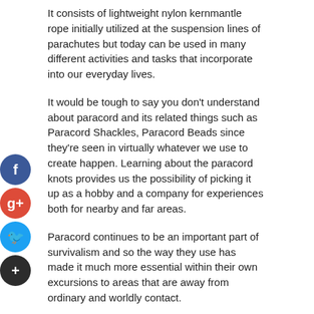It consists of lightweight nylon kernmantle rope initially utilized at the suspension lines of parachutes but today can be used in many different activities and tasks that incorporate into our everyday lives.
It would be tough to say you don't understand about paracord and its related things such as Paracord Shackles, Paracord Beads since they're seen in virtually whatever we use to create happen. Learning about the paracord knots provides us the possibility of picking it up as a hobby and a company for experiences both for nearby and far areas.
Paracord continues to be an important part of survivalism and so the way they use has made it much more essential within their own excursions to areas that are away from ordinary and worldly contact.
The very best portion of this paracord comes if you purchase the very best variant that reflects the real facet of it. As it's a large number of interwoven strands because of its dimensions hence giving it a smooth feel that's both all-nylon created and